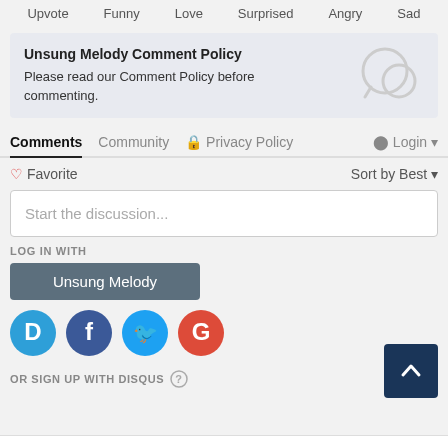Upvote  Funny  Love  Surprised  Angry  Sad
Unsung Melody Comment Policy
Please read our Comment Policy before commenting.
[Figure (illustration): Chat bubble icon]
Comments  Community  Privacy Policy  Login
Favorite  Sort by Best
Start the discussion...
LOG IN WITH
Unsung Melody
[Figure (logo): Social login icons: Disqus (D), Facebook (f), Twitter bird, Google (G)]
OR SIGN UP WITH DISQUS
[Figure (illustration): Back to top arrow button (dark blue square with up chevron)]